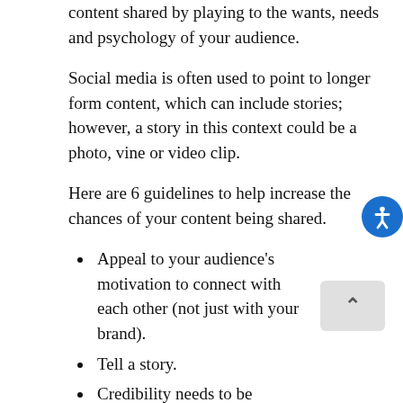content shared by playing to the wants, needs and psychology of your audience.
Social media is often used to point to longer form content, which can include stories; however, a story in this context could be a photo, vine or video clip.
Here are 6 guidelines to help increase the chances of your content being shared.
Appeal to your audience's motivation to connect with each other (not just with your brand).
Tell a story.
Credibility needs to be established, as does trust, which is the cost of getting shares.
Keep the message simple.
Appeal to positive emotions like inspiration,